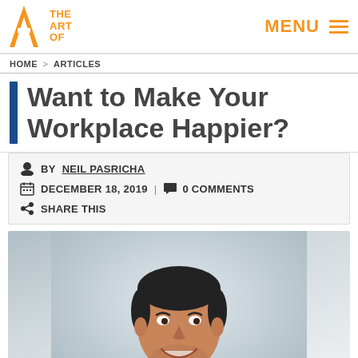THE ART OF | MENU
HOME > ARTICLES
Want to Make Your Workplace Happier?
BY NEIL PASRICHA | DECEMBER 18, 2019 | 0 COMMENTS | SHARE THIS
[Figure (photo): Headshot photo of Neil Pasricha, a smiling man with dark hair, against a light gray background]